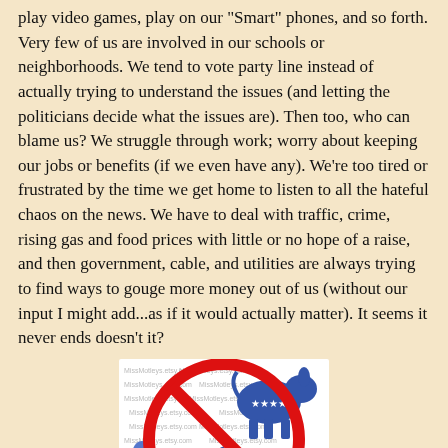play video games, play on our "Smart" phones, and so forth. Very few of us are involved in our schools or neighborhoods. We tend to vote party line instead of actually trying to understand the issues (and letting the politicians decide what the issues are). Then too, who can blame us? We struggle through work; worry about keeping our jobs or benefits (if we even have any). We're too tired or frustrated by the time we get home to listen to all the hateful chaos on the news. We have to deal with traffic, crime, rising gas and food prices with little or no hope of a raise, and then government, cable, and utilities are always trying to find ways to gouge more money out of us (without our input I might add...as if it would actually matter). It seems it never ends doesn't it?
[Figure (illustration): A circular red 'no' symbol (red circle with diagonal slash) overlaid on both the Democratic donkey (blue with white stars) and Republican elephant (blue with white stars), with watermark text 'MissMotleys.etsy.com' repeated throughout the image background.]
Of course, this is just one view. The majority of Americans...